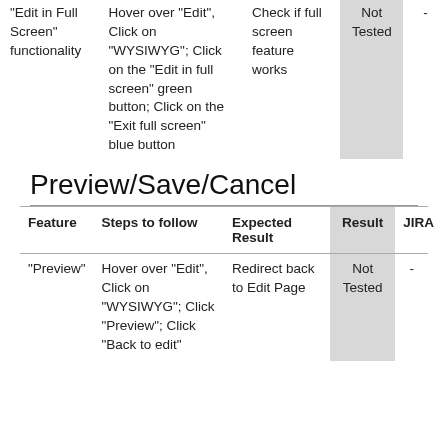| Feature | Steps to follow | Expected Result | Result | JIRA |
| --- | --- | --- | --- | --- |
| "Edit in Full Screen" functionality | Hover over "Edit", Click on "WYSIWYG"; Click on the "Edit in full screen" green button; Click on the "Exit full screen" blue button | Check if full screen feature works | Not Tested | - |
Preview/Save/Cancel
| Feature | Steps to follow | Expected Result | Result | JIRA |
| --- | --- | --- | --- | --- |
| "Preview" | Hover over "Edit", Click on "WYSIWYG"; Click "Preview"; Click "Back to edit" | Redirect back to Edit Page | Not Tested | - |